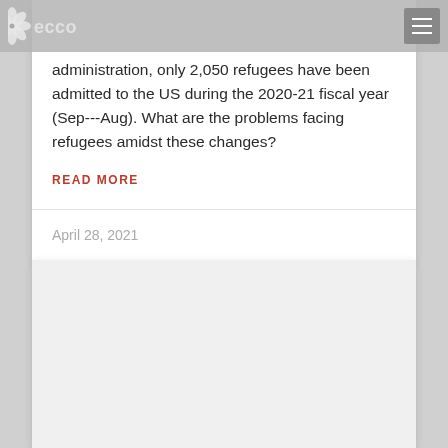eccovia [navigation bar with logo]
administration, only 2,050 refugees have been admitted to the US during the 2020-21 fiscal year (Sep---Aug). What are the problems facing refugees amidst these changes?
READ MORE
April 28, 2021
[Figure (other): Empty white/light gray card placeholder area]